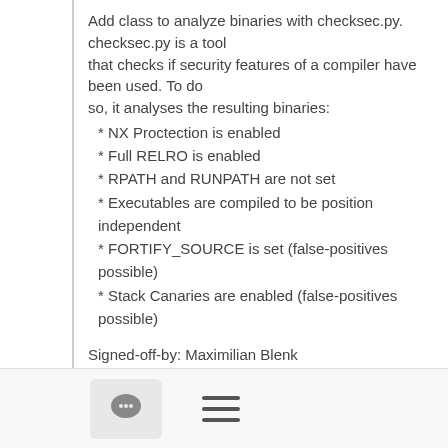Add class to analyze binaries with checksec.py. checksec.py is a tool that checks if security features of a compiler have been used. To do so, it analyses the resulting binaries:
* NX Proctection is enabled
* Full RELRO is enabled
* RPATH and RUNPATH are not set
* Executables are compiled to be position independent
* FORTIFY_SOURCE is set (false-positives possible)
* Stack Canaries are enabled (false-positives possible)
Signed-off-by: Maximilian Blenk <Maximilian.Blenk@...>
---
Hi guys,
we are currently working on adding automatically checking the binaries we put into an image for the presence of certain